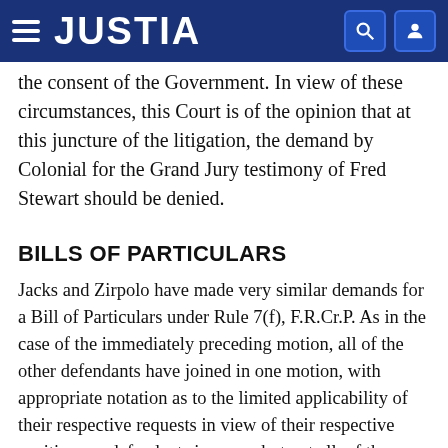JUSTIA
the consent of the Government. In view of these circumstances, this Court is of the opinion that at this juncture of the litigation, the demand by Colonial for the Grand Jury testimony of Fred Stewart should be denied.
BILLS OF PARTICULARS
Jacks and Zirpolo have made very similar demands for a Bill of Particulars under Rule 7(f), F.R.Cr.P. As in the case of the immediately preceding motion, all of the other defendants have joined in one motion, with appropriate notation as to the limited applicability of their respective requests in view of their respective positions as defendants in some, but not all, of the Counts of the Indictment. Movants urge that their extensive demands